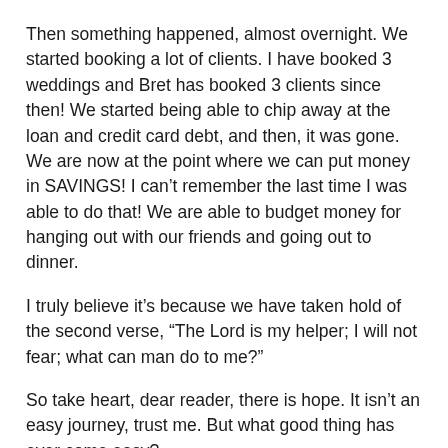Then something happened, almost overnight. We started booking a lot of clients. I have booked 3 weddings and Bret has booked 3 clients since then! We started being able to chip away at the loan and credit card debt, and then, it was gone. We are now at the point where we can put money in SAVINGS! I can't remember the last time I was able to do that! We are able to budget money for hanging out with our friends and going out to dinner.
I truly believe it's because we have taken hold of the second verse, “The Lord is my helper; I will not fear; what can man do to me?”
So take heart, dear reader, there is hope. It isn’t an easy journey, trust me. But what good thing has ever come easy?